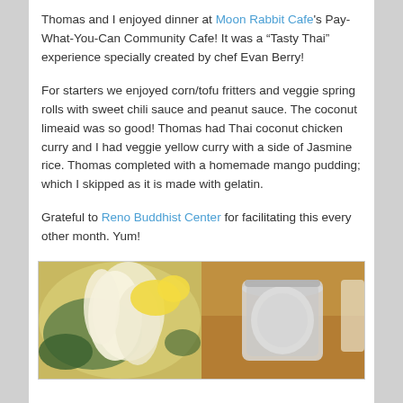Thomas and I enjoyed dinner at Moon Rabbit Cafe's Pay-What-You-Can Community Cafe! It was a “Tasty Thai” experience specially created by chef Evan Berry!
For starters we enjoyed corn/tofu fritters and veggie spring rolls with sweet chili sauce and peanut sauce. The coconut limeaid was so good! Thomas had Thai coconut chicken curry and I had veggie yellow curry with a side of Jasmine rice. Thomas completed with a homemade mango pudding; which I skipped as it is made with gelatin.
Grateful to Reno Buddhist Center for facilitating this every other month. Yum!
[Figure (photo): Close-up photo of white flower petals and yellow flowers with green leaves]
[Figure (photo): Photo of a glass mason jar filled with a pale white drink, likely coconut limeaid, on a golden/yellow surface]